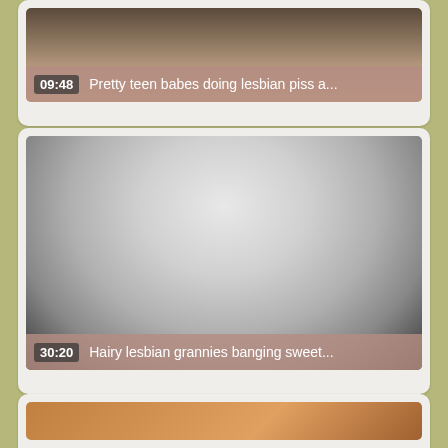[Figure (screenshot): Video thumbnail card 1 with duration 09:48 and title 'Pretty teen babes doing lesbian piss a...']
[Figure (screenshot): Video thumbnail card 2 with duration 30:20 and title 'Hairy lesbian grannies banging sweet...']
[Figure (screenshot): Video thumbnail card 3 (partially visible), no duration or title visible]